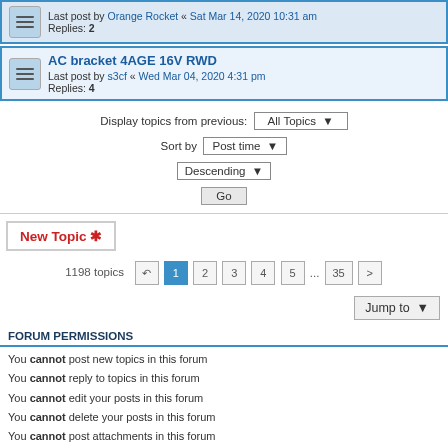Last post by Orange Rocket « Sat Mar 14, 2020 10:31 am
Replies: 2
AC bracket 4AGE 16V RWD
Last post by s3cf « Wed Mar 04, 2020 4:31 pm
Replies: 4
Display topics from previous: All Topics ▼
Sort by Post time ▼
Descending ▼
Go
New Topic *
1198 topics  1 2 3 4 5 ... 35 >
Jump to ▼
FORUM PERMISSIONS
You cannot post new topics in this forum
You cannot reply to topics in this forum
You cannot edit your posts in this forum
You cannot delete your posts in this forum
You cannot post attachments in this forum
Club4AG Forum Main Menu   Contact us   The team   ≡
Powered by phpBB® Forum Software © phpBB Limited